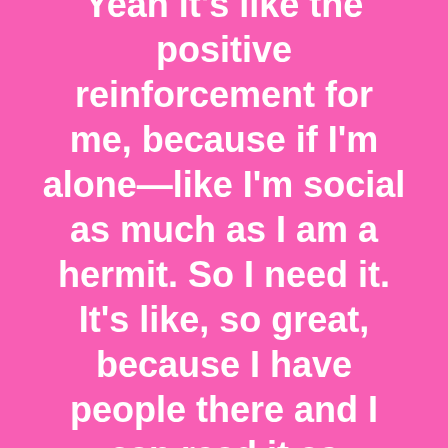Yeah it's like the positive reinforcement for me, because if I'm alone—like I'm social as much as I am a hermit. So I need it. It's like, so great, because I have people there and I can read it as